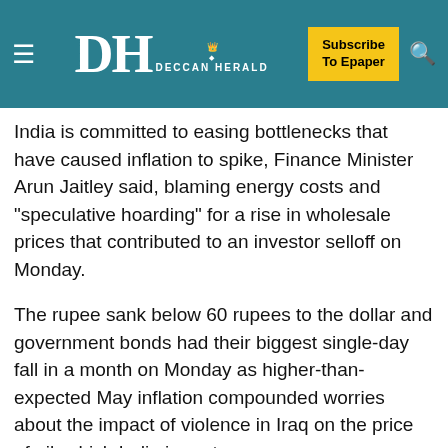DH DECCAN HERALD | Subscribe To Epaper
India is committed to easing bottlenecks that have caused inflation to spike, Finance Minister Arun Jaitley said, blaming energy costs and "speculative hoarding" for a rise in wholesale prices that contributed to an investor selloff on Monday.
The rupee sank below 60 rupees to the dollar and government bonds had their biggest single-day fall in a month on Monday as higher-than-expected May inflation compounded worries about the impact of violence in Iraq on the price of oil, which India imports.
Prime Minister Narendra Modi was elected amid widespread